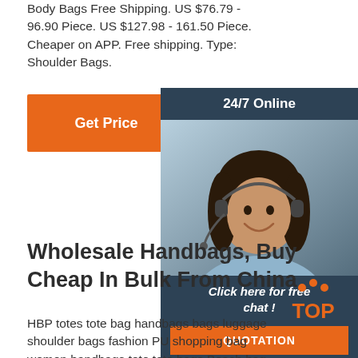Body Bags Free Shipping. US $76.79 - 96.90 Piece. US $127.98 - 161.50 Piece. Cheaper on APP. Free shipping. Type: Shoulder Bags.
Get Price
[Figure (infographic): 24/7 Online chat panel with a customer service representative (woman with headset), dark blue/teal background, 'Click here for free chat!' text, and an orange QUOTATION button]
Wholesale Handbags, Buy Cheap In Bulk From China
HBP totes tote bag handbags bags luggage shoulder bags fashion PU shopping bag women handbags tote tote bags Beach bag MAIDINI-58 ... Bag For Women Cloud Pouch Soft Leather Madame Handbag Single
[Figure (logo): Orange TOP badge with dots above the text]